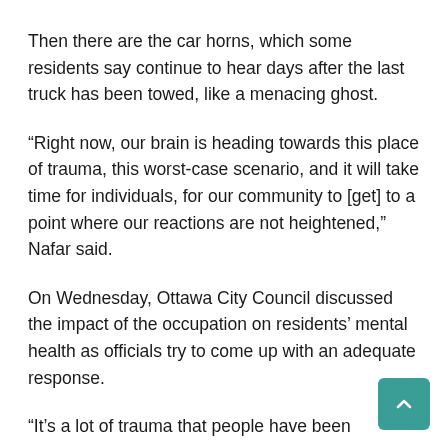Then there are the car horns, which some residents say continue to hear days after the last truck has been towed, like a menacing ghost.
“Right now, our brain is heading towards this place of trauma, this worst-case scenario, and it will take time for individuals, for our community to [get] to a point where our reactions are not heightened,” Nafar said.
On Wednesday, Ottawa City Council discussed the impact of the occupation on residents’ mental health as officials try to come up with an adequate response.
“It’s a lot of trauma that people have been